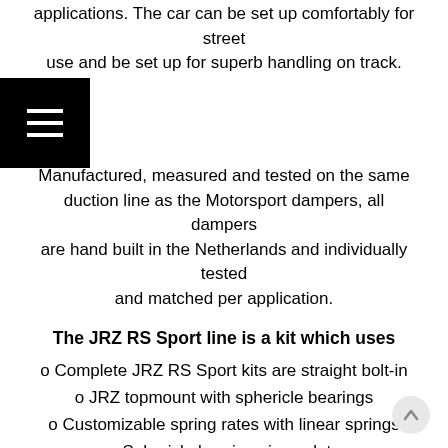applications. The car can be set up comfortably for street use and be set up for superb handling on track.
Manufactured, measured and tested on the same production line as the Motorsport dampers, all dampers are hand built in the Netherlands and individually tested and matched per application.
The JRZ RS Sport line is a kit which uses
o Complete JRZ RS Sport kits are straight bolt-in
o JRZ topmount with sphericle bearings
o Customizable spring rates with linear springs
o Sphericle bearings in eyelets
o Valved for chassis control and performance
All JRZ dampers are:
Ride height adjustable
Include bump stops
Include dust boots
Every adjustment click gives noticeable change